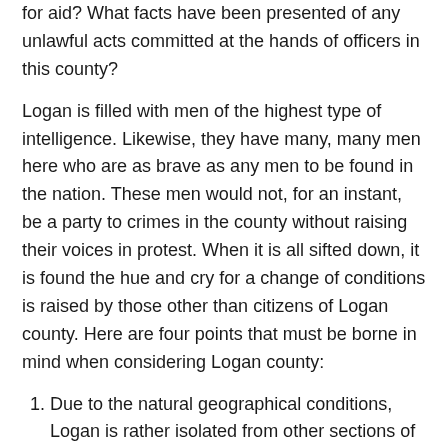for aid? What facts have been presented of any unlawful acts committed at the hands of officers in this county?
Logan is filled with men of the highest type of intelligence. Likewise, they have many, many men here who are as brave as any men to be found in the nation. These men would not, for an instant, be a party to crimes in the county without raising their voices in protest. When it is all sifted down, it is found the hue and cry for a change of conditions is raised by those other than citizens of Logan county. Here are four points that must be borne in mind when considering Logan county:
Due to the natural geographical conditions, Logan is rather isolated from other sections of the state.
Due to this isolation and the fact that it is far removed from through transportation facilities, it is hard to attract